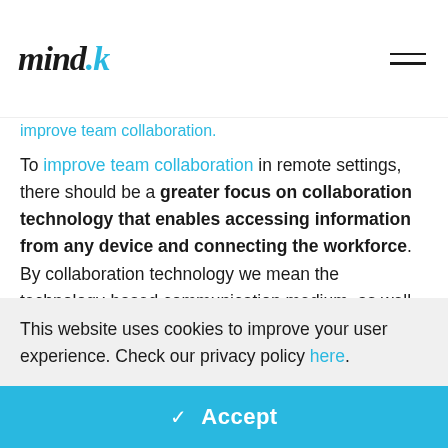[Figure (logo): mind.k logo with stylized italic text, dot and k in blue]
improve team collaboration
To improve team collaboration in remote settings, there should be a greater focus on collaboration technology that enables accessing information from any device and connecting the workforce. By collaboration technology we mean the technology-based communication medium, as well as other digital features designed to support
This website uses cookies to improve your user experience. Check our privacy policy here.
✓  Accept